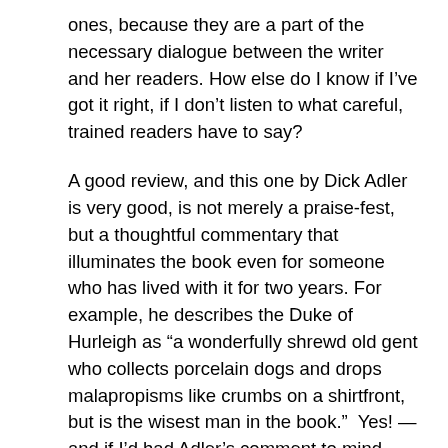ones, because they are a part of the necessary dialogue between the writer and her readers. How else do I know if I’ve got it right, if I don’t listen to what careful, trained readers have to say?
A good review, and this one by Dick Adler is very good, is not merely a praise-fest, but a thoughtful commentary that illuminates the book even for someone who has lived with it for two years. For example, he describes the Duke of Hurleigh as “a wonderfully shrewd old gent who collects porcelain dogs and drops malapropisms like crumbs on a shirtfront, but is the wisest man in the book.” Yes! —and if I’d had Adler’s comment to mind before I began to write the Duke, it would have made his character a lot easier to develop.
If only I could have Adler whispering in my ear now, as I’m trying to get a handle on the characters in the